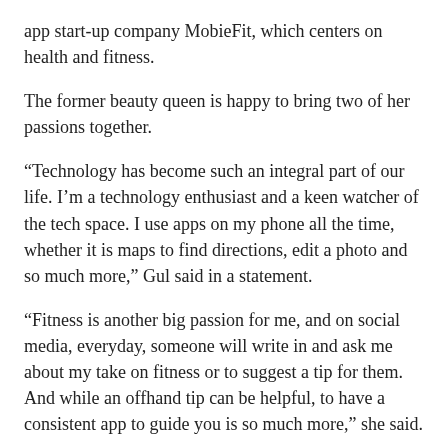app start-up company MobieFit, which centers on health and fitness.
The former beauty queen is happy to bring two of her passions together.
“Technology has become such an integral part of our life. I’m a technology enthusiast and a keen watcher of the tech space. I use apps on my phone all the time, whether it is maps to find directions, edit a photo and so much more,” Gul said in a statement.
“Fitness is another big passion for me, and on social media, everyday, someone will write in and ask me about my take on fitness or to suggest a tip for them. And while an offhand tip can be helpful, to have a consistent app to guide you is so much more,” she said.
MobieFit has been incubated by Prototyze, whose founder is Gourav Jaswal.
Gul, 36, says she is joining Jaswal as they “share a vision of